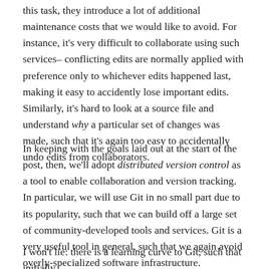this task, they introduce a lot of additional maintenance costs that we would like to avoid. For instance, it's very difficult to collaborate using such services– conflicting edits are normally applied with preference only to whichever edits happened last, making it easy to accidently lose important edits. Similarly, it's hard to look at a source file and understand why a particular set of changes was made, such that it's again too easy to accidentally undo edits from collaborators.
In keeping with the goals laid out at the start of the post, then, we'll adopt distributed version control as a tool to enable collaboration and version tracking. In particular, we will use Git in no small part due to its popularity, such that we can build off a large set of community-developed tools and services. Git is a very useful tool in general, such that we again avoid overly-specialized software infrastructure.
I won't lie: there is a learning curve to Git, such that initially it will take substantially longer to do a task enabled by Git